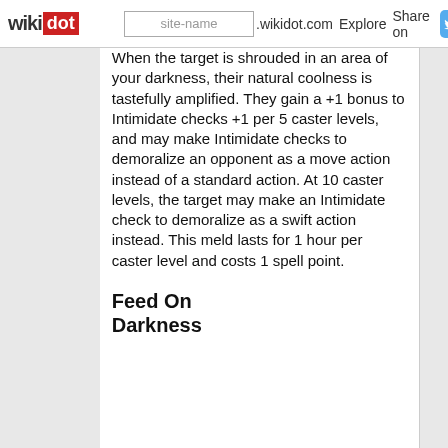wikidot | site-name .wikidot.com | Explore | Share on [Twitter]
When the target is shrouded in an area of your darkness, their natural coolness is tastefully amplified. They gain a +1 bonus to Intimidate checks +1 per 5 caster levels, and may make Intimidate checks to demoralize an opponent as a move action instead of a standard action. At 10 caster levels, the target may make an Intimidate check to demoralize as a swift action instead. This meld lasts for 1 hour per caster level and costs 1 spell point.
Feed On Darkness